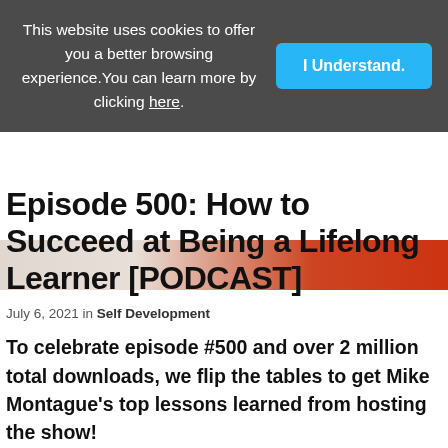This website uses cookies to offer you a better browsing experience. You can learn more by clicking here.
[Figure (screenshot): Cookie consent banner overlay on a website, with blue 'I Understand.' button on right side]
Episode 500: How to Succeed at Being a Lifelong Learner [PODCAST]
July 6, 2021 in Self Development
To celebrate episode #500 and over 2 million total downloads, we flip the tables to get Mike Montague's top lessons learned from hosting the show!